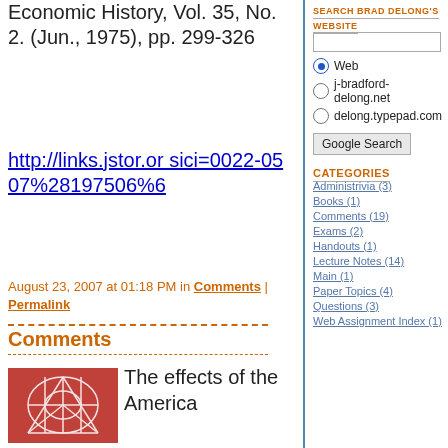Economic History, Vol. 35, No. 2. (Jun., 1975), pp. 299-326
http://links.jstor.or sici=0022-0507%28197506%6
August 23, 2007 at 01:18 PM in Comments | Permalink
Comments
[Figure (illustration): Red/pink decorative image with geometric leaf pattern]
The effects of the America
SEARCH BRAD DELONG'S WEBSITE
Web (selected), j-bradford-delong.net, delong.typepad.com radio options
Google Search button
CATEGORIES
Administrivia (3)
Books (1)
Comments (19)
Exams (2)
Handouts (1)
Lecture Notes (14)
Main (1)
Paper Topics (4)
Questions (3)
Web Assignment Index (1)